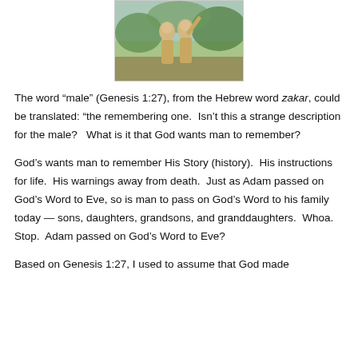[Figure (photo): Statue or sculpture of two figures (Adam and Eve) in front of a painted garden background.]
The word “male” (Genesis 1:27), from the Hebrew word zakar, could be translated: “the remembering one. Isn’t this a strange description for the male? What is it that God wants man to remember?
God’s wants man to remember His Story (history). His instructions for life. His warnings away from death. Just as Adam passed on God’s Word to Eve, so is man to pass on God’s Word to his family today — sons, daughters, grandsons, and granddaughters. Whoa. Stop. Adam passed on God’s Word to Eve?
Based on Genesis 1:27, I used to assume that God made